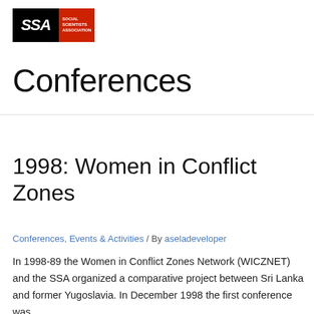[Figure (logo): SSA Social Scientists Association logo — black background with white italic SSA text and red block with white text reading SOCIAL SCIENTISTS ASSOCIATION]
Conferences
1998: Women in Conflict Zones
Conferences, Events & Activities / By aseladeveloper
In 1998-89 the Women in Conflict Zones Network (WICZNET) and the SSA organized a comparative project between Sri Lanka and former Yugoslavia. In December 1998 the first conference was